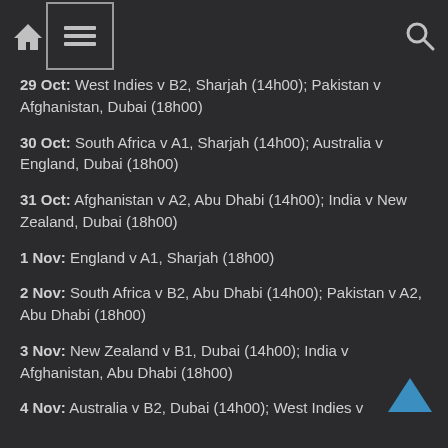Navigation bar with home, menu, and search icons
29 Oct: West Indies v B2, Sharjah (14h00); Pakistan v Afghanistan, Dubai (18h00)
30 Oct: South Africa v A1, Sharjah (14h00); Australia v England, Dubai (18h00)
31 Oct: Afghanistan v A2, Abu Dhabi (14h00); India v New Zealand, Dubai (18h00)
1 Nov: England v A1, Sharjah (18h00)
2 Nov: South Africa v B2, Abu Dhabi (14h00); Pakistan v A2, Abu Dhabi (18h00)
3 Nov: New Zealand v B1, Dubai (14h00); India v Afghanistan, Abu Dhabi (18h00)
4 Nov: Australia v B2, Dubai (14h00); West Indies v